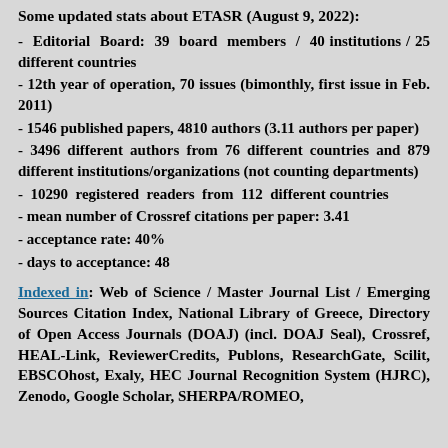Some updated stats about ETASR (August 9, 2022):
- Editorial Board: 39 board members / 40 institutions / 25 different countries
- 12th year of operation, 70 issues (bimonthly, first issue in Feb. 2011)
- 1546 published papers, 4810 authors (3.11 authors per paper)
- 3496 different authors from 76 different countries and 879 different institutions/organizations (not counting departments)
- 10290 registered readers from 112 different countries
- mean number of Crossref citations per paper: 3.41
- acceptance rate: 40%
- days to acceptance: 48
Indexed in: Web of Science / Master Journal List / Emerging Sources Citation Index, National Library of Greece, Directory of Open Access Journals (DOAJ) (incl. DOAJ Seal), Crossref, HEAL-Link, ReviewerCredits, Publons, ResearchGate, Scilit, EBSCOhost, Exaly, HEC Journal Recognition System (HJRC), Zenodo, Google Scholar, SHERPA/ROMEO,